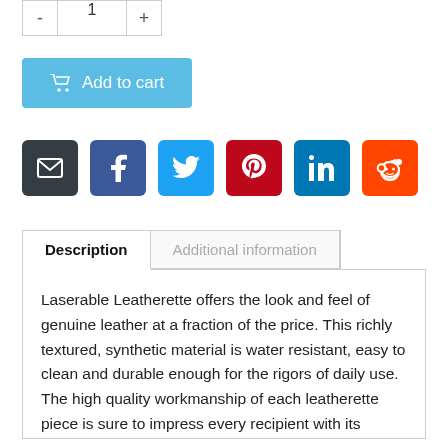[Figure (screenshot): Quantity selector with minus, 1, and plus buttons]
[Figure (screenshot): Add to cart button (blue) with shopping cart icon]
[Figure (screenshot): Social sharing icons: email (dark), Facebook (blue), Twitter (light blue), Pinterest (red), LinkedIn (blue), Reddit (orange)]
Description
Additional information
Laserable Leatherette offers the look and feel of genuine leather at a fraction of the price. This richly textured, synthetic material is water resistant, easy to clean and durable enough for the rigors of daily use. The high quality workmanship of each leatherette piece is sure to impress every recipient with its elegant individuality. Laserable leatherette items can be personalized through laser engraving for a sharp contrast.